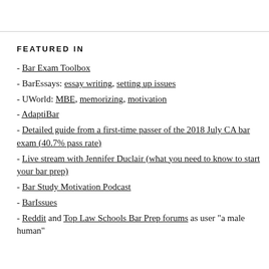FEATURED IN
- Bar Exam Toolbox
- BarEssays: essay writing, setting up issues
- UWorld: MBE, memorizing, motivation
- AdaptiBar
- Detailed guide from a first-time passer of the 2018 July CA bar exam (40.7% pass rate)
- Live stream with Jennifer Duclair (what you need to know to start your bar prep)
- Bar Study Motivation Podcast
- BarIssues
- Reddit and Top Law Schools Bar Prep forums as user "a male human"